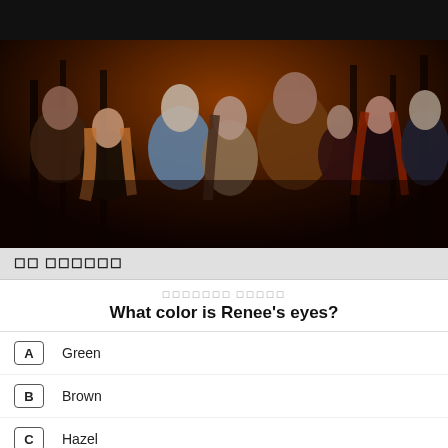[Figure (photo): Twilight movie cast photo with multiple characters in a forest at sunset. Several vampires and werewolves characters posed together.]
☐☐ ☐☐☐☐☐☐
☐☐☐☐☐☐☐ ☐☐☐☐☐
What color is Renee's eyes?
A  Green
B  Brown
C  Hazel
D  ...